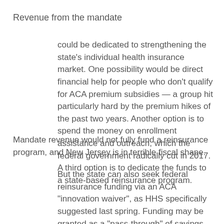Revenue from the mandate
could be dedicated to strengthening the state’s individual health insurance market. One possibility would be direct financial help for people who don’t qualify for ACA premium subsidies — a group hit particularly hard by the premium hikes of the past two years. Another option is to spend the money on enrollment assistance and outreach, which the federal government radically cut in 2017. A third option is to dedicate the funds to a state-based reinsurance program.
Mandate revenue would not fully fund a reinsurance program, and New Jersey is in terrible fiscal shape.
But the state can also seek federal reinsurance funding via an ACA “innovation waiver”, as HHS specifically suggested last spring. Funding may be granted as a “pass-through” of savings derived from lower premiums — since lower